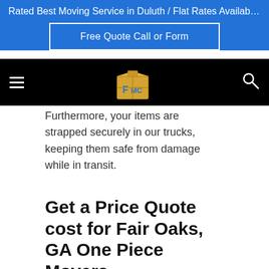Rated Best Moving Service in Duluth / Flat Rates Available / F...
Free Quote Call or Form
[Figure (logo): FMC moving company logo with boxes]
Furthermore, your items are strapped securely in our trucks, keeping them safe from damage while in transit.
Get a Price Quote cost for Fair Oaks, GA One Piece Movers
For ultimate peace of mind and as part of our complete range of furniture moving services, we also provide transit and storage insurance for full protection of your